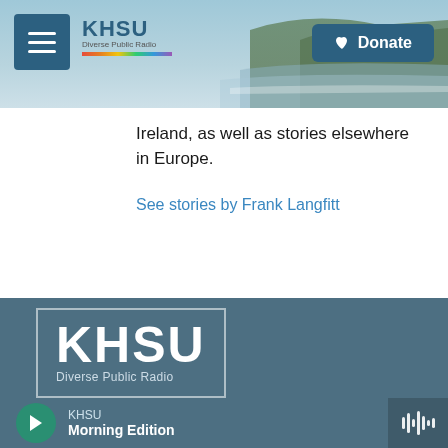[Figure (screenshot): KHSU Diverse Public Radio website header with coastal landscape photo background, hamburger menu button, KHSU logo with rainbow bar, and blue Donate button]
Ireland, as well as stories elsewhere in Europe.
See stories by Frank Langfitt
[Figure (logo): KHSU Diverse Public Radio large logo in white on blue-gray background in website footer]
KHSU
Morning Edition